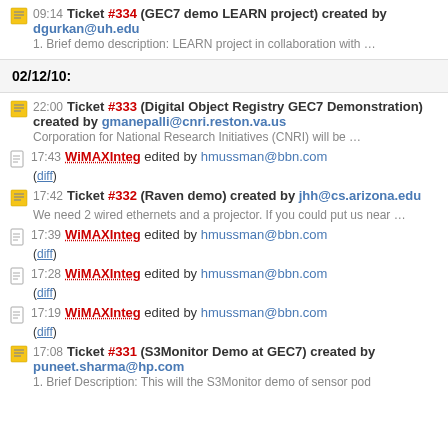09:14 Ticket #334 (GEC7 demo LEARN project) created by dgurkan@uh.edu
1. Brief demo description: LEARN project in collaboration with …
02/12/10:
22:00 Ticket #333 (Digital Object Registry GEC7 Demonstration) created by gmanepalli@cnri.reston.va.us
Corporation for National Research Initiatives (CNRI) will be …
17:43 WiMAXInteg edited by hmussman@bbn.com
(diff)
17:42 Ticket #332 (Raven demo) created by jhh@cs.arizona.edu
We need 2 wired ethernets and a projector. If you could put us near …
17:39 WiMAXInteg edited by hmussman@bbn.com
(diff)
17:28 WiMAXInteg edited by hmussman@bbn.com
(diff)
17:19 WiMAXInteg edited by hmussman@bbn.com
(diff)
17:08 Ticket #331 (S3Monitor Demo at GEC7) created by puneet.sharma@hp.com
1. Brief Description: This will the S3Monitor demo of sensor pod